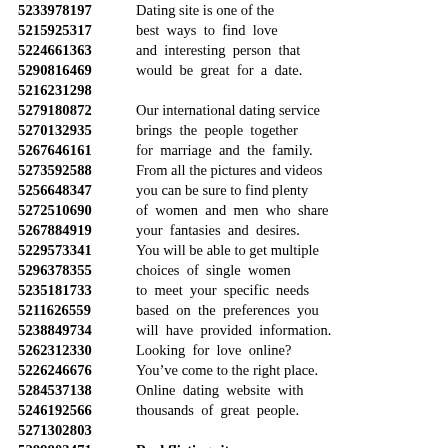5233978197  Dating site is one of the
5215925317  best ways to find love
5224661363  and interesting person that
5290816469  would be great for a date.
5216231298
5279180872  Our international dating service
5270132935  brings the people together
5267646161  for marriage and the family.
5273592588  From all the pictures and videos
5256648347  you can be sure to find plenty
5272510690  of women and men who share
5267884919  your fantasies and desires.
5229573341  You will be able to get multiple
5296378355  choices of single women
5235181733  to meet your specific needs
5211626559  based on the preferences you
5238849734  will have provided information.
5262312330  Looking for love online?
5226246676  You’ve come to the right place.
5284537138  Online dating website with
5246192566  thousands of great people.
5271302803
5289803471  Real flirting site:
5298268498  You will not be charged
5235921921  anything to sign up and